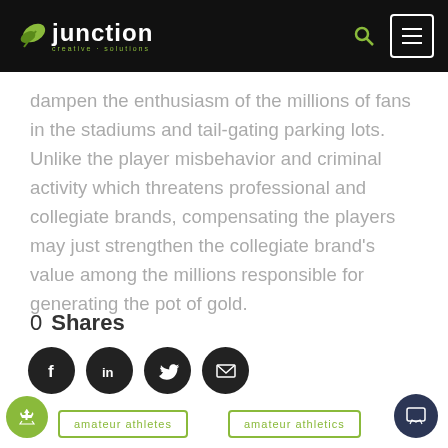Junction Creative Solutions
dampen the enthusiasm of the millions of fans in the stadiums and tail-gating parking lots. Unlike the player misbehavior and criminal activity which threatens professional and collegiate brands, compensating the players may just strengthen the collegiate brand's value among the millions responsible for generating the pot of gold.
0  Shares
[Figure (infographic): Social share icons: Facebook, LinkedIn, Twitter, Email — black circles]
amateur athletes
amateur athletics